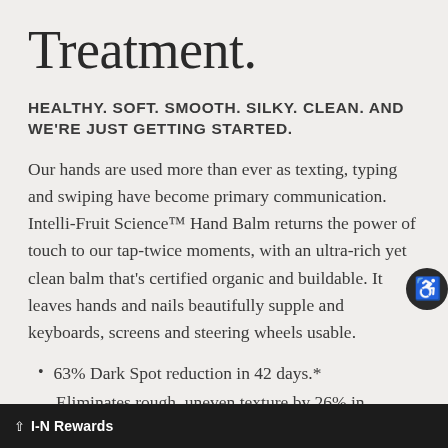Treatment.
HEALTHY. SOFT. SMOOTH. SILKY. CLEAN. AND WE'RE JUST GETTING STARTED.
Our hands are used more than ever as texting, typing and swiping have become primary communication. Intelli-Fruit Science™ Hand Balm returns the power of touch to our tap-twice moments, with an ultra-rich yet clean balm that's certified organic and buildable. It leaves hands and nails beautifully supple and keyboards, screens and steering wheels usable.
63% Dark Spot reduction in 42 days.*
Eliminates rough, uneven texture by 26% in
I-N Rewards